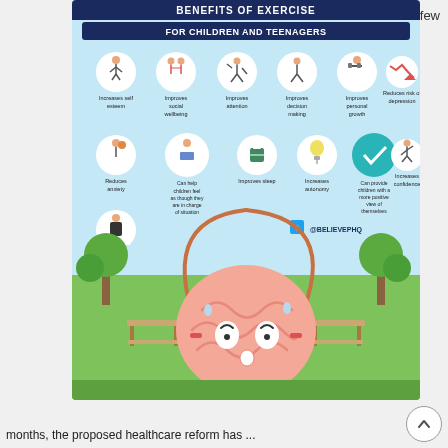few
[Figure (infographic): Benefits of Exercise for Children and Teenagers infographic. Shows a cartoon brain jumping rope in a park scene. Top section lists 9 benefits in circular icon format: Increases self esteem, Improves social wellbeing, Improves attention, Improves decision making, Improves personal growth, Reduces risk of depression, Reduces anxiety, Can help children feel as though they are in charge of situation, Improves sleep, Increases autonomy, Can provide children with a more positive view of themselves, Increases confidence, Reduces stress. Twitter handle @BELIEVEPHQ shown.]
months, the proposed healthcare reform has ...